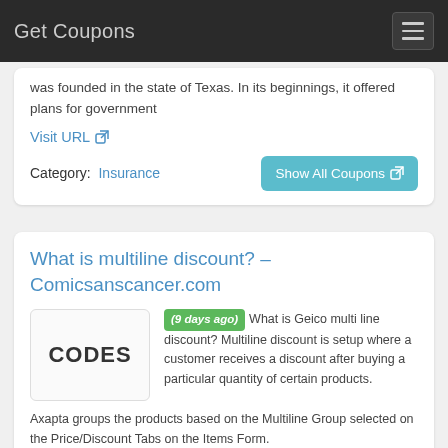Get Coupons
was founded in the state of Texas. In its beginnings, it offered plans for government
Visit URL
Category: Insurance
Show All Coupons
What is multiline discount? – Comicsanscancer.com
(9 days ago) What is Geico multi line discount? Multiline discount is setup where a customer receives a discount after buying a particular quantity of certain products. Axapta groups the products based on the Multiline Group selected on the Price/Discount Tabs on the Items Form.